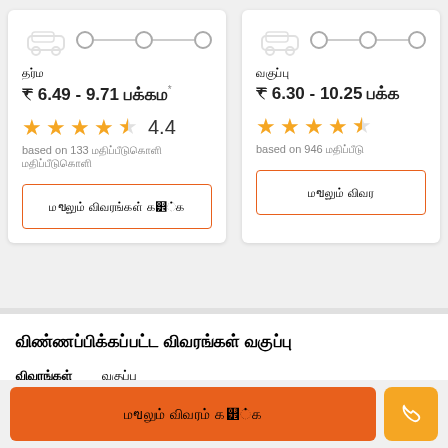தர்ம
₹ 6.49 - 9.71 பக்கம்*
4.4
based on 133 மதிப்பீடுகளை மதிப்பீடுகளை
மேலும் விவரங்கள் காண்க
வகுப்பு
₹ 6.30 - 10.25 பக்க
based on 946 மதிப்பீடு
மேலும் விவர
விண்ணப்பிக்கப்பட்ட விவரங்கள் வகுப்பு
விவரங்கள்
வகுப்பு
மேலும் விவரம் காண